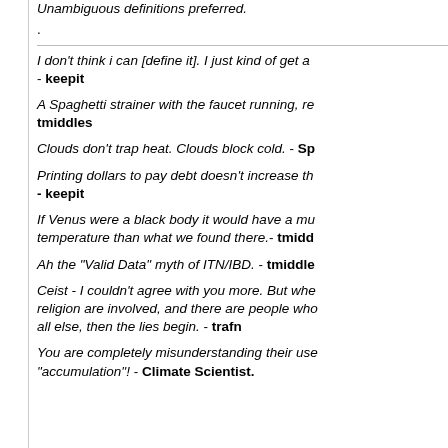Unambiguous definitions preferred.
.
I don't think i can [define it]. I just kind of get a - keepit
A Spaghetti strainer with the faucet running, re tmiddles
Clouds don't trap heat. Clouds block cold. - Sp
Printing dollars to pay debt doesn't increase th - keepit
If Venus were a black body it would have a mu temperature than what we found there.- tmidd
Ah the "Valid Data" myth of ITN/IBD. - tmiddle
Ceist - I couldn't agree with you more. But whe religion are involved, and there are people who all else, then the lies begin. - trafn
You are completely misunderstanding their use "accumulation"! - Climate Scientist.